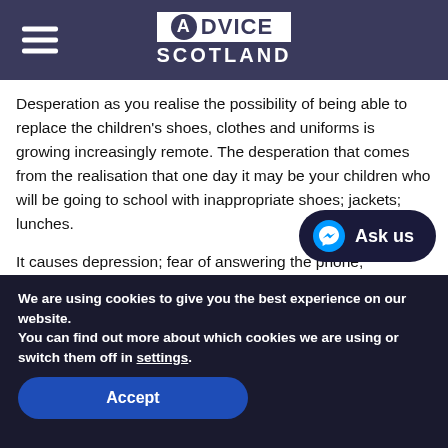Advice Scotland
Desperation as you realise the possibility of being able to replace the children's shoes, clothes and uniforms is growing increasingly remote. The desperation that comes from the realisation that one day it may be your children who will be going to school with inappropriate shoes; jackets; lunches.
It causes depression; fear of answering the phone; avoidance of opening the door. Mail lies unopened. Strangers intrude on your doorstep and violate you and your family's privacy seeking payment.
We are using cookies to give you the best experience on our website.
You can find out more about which cookies we are using or switch them off in settings.
Accept